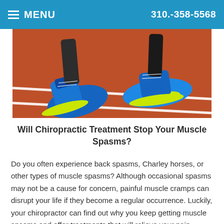MENU   310.-358-5568
[Figure (photo): Close-up photo of feet wearing blue and neon yellow sneakers on a red running track with white lane lines.]
Will Chiropractic Treatment Stop Your Muscle Spasms?
Do you often experience back spasms, Charley horses, or other types of muscle spasms? Although occasional spasms may not be a cause for concern, painful muscle cramps can disrupt your life if they become a regular occurrence. Luckily, your chiropractor can find out why you keep getting muscle spasms and offer treatments that will relieve your pain.